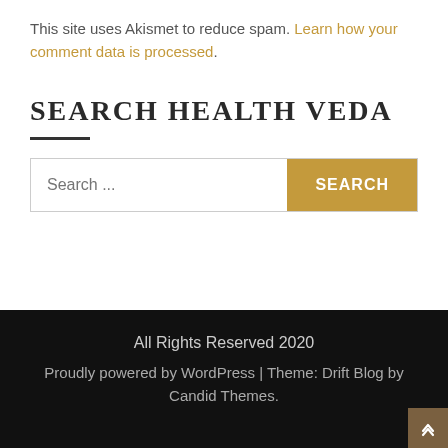This site uses Akismet to reduce spam. Learn how your comment data is processed.
SEARCH HEALTH VEDA
[Figure (other): Search bar with text input field placeholder 'Search ...' and a gold 'SEARCH' button]
All Rights Reserved 2020 Proudly powered by WordPress | Theme: Drift Blog by Candid Themes.